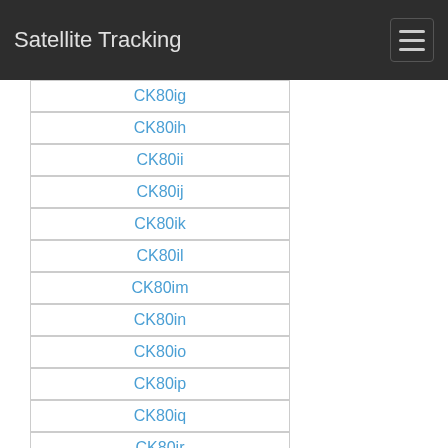Satellite Tracking
CK80ig
CK80ih
CK80ii
CK80ij
CK80ik
CK80il
CK80im
CK80in
CK80io
CK80ip
CK80iq
CK80ir
CK80is
CK80it
CK80iu
CK80iv
CK80iw